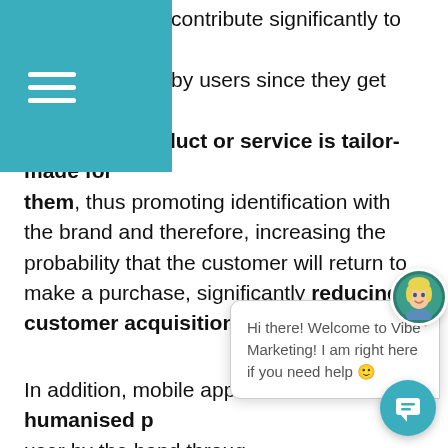ons is that they contribute significantly to the on of the brand by users since they get the on that the product or service is tailor-made for them, thus promoting identification with the brand and therefore, increasing the probability that the customer will return to make a purchase, significantly reducing customer acquisition costs.
In addition, mobile appl... offer more humanised p... user by the hand throug... facilitating and speeding... experience with users, and guaranteeing that each time the customer wishes to purchase a product or se... related to what you offer, the first thing that will c... mind will be those of your brand, and in the best of
[Figure (screenshot): Chat popup widget from Vibe Marketing. Contains an avatar of a blonde woman, a close (X) button, and the message: 'Hi there! Welcome to Vibe Marketing! I am right here if you need help 🙂'. A teal chat launcher button is visible at bottom-right.]